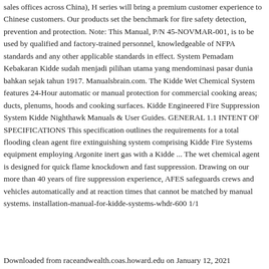sales offices across China), H series will bring a premium customer experience to Chinese customers. Our products set the benchmark for fire safety detection, prevention and protection. Note: This Manual, P/N 45-NOVMAR-001, is to be used by qualified and factory-trained personnel, knowledgeable of NFPA standards and any other applicable standards in effect. System Pemadam Kebakaran Kidde sudah menjadi pilihan utama yang mendominasi pasar dunia bahkan sejak tahun 1917. Manualsbrain.com. The Kidde Wet Chemical System features 24-Hour automatic or manual protection for commercial cooking areas; ducts, plenums, hoods and cooking surfaces. Kidde Engineered Fire Suppression System Kidde Nighthawk Manuals & User Guides. GENERAL 1.1 INTENT OF SPECIFICATIONS This specification outlines the requirements for a total flooding clean agent fire extinguishing system comprising Kidde Fire Systems equipment employing Argonite inert gas with a Kidde ... The wet chemical agent is designed for quick flame knockdown and fast suppression. Drawing on our more than 40 years of fire suppression experience, AFES safeguards crews and vehicles automatically and at reaction times that cannot be matched by manual systems. installation-manual-for-kidde-systems-whdr-600 1/1
Downloaded from raceandwealth.coas.howard.edu on January 12, 2021